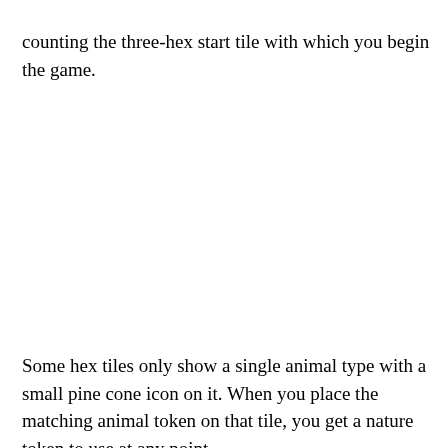counting the three-hex start tile with which you begin the game.
Some hex tiles only show a single animal type with a small pine cone icon on it. When you place the matching animal token on that tile, you get a nature token to use at any point